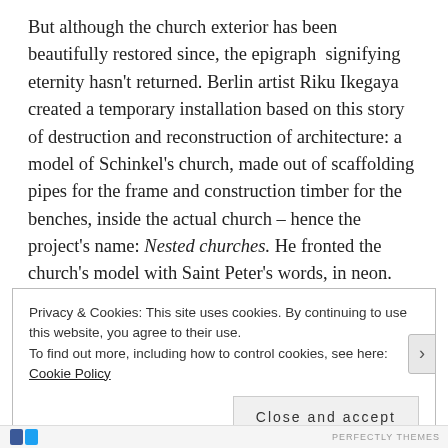But although the church exterior has been beautifully restored since, the epigraph  signifying eternity hasn't returned. Berlin artist Riku Ikegaya created a temporary installation based on this story of destruction and reconstruction of architecture: a model of Schinkel's church, made out of scaffolding pipes for the frame and construction timber for the benches, inside the actual church – hence the project's name: Nested churches. He fronted the church's model with Saint Peter's words, in neon.
Privacy & Cookies: This site uses cookies. By continuing to use this website, you agree to their use.
To find out more, including how to control cookies, see here: Cookie Policy
Close and accept